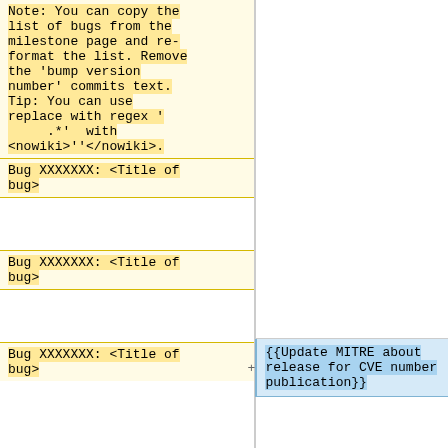Note: You can copy the list of bugs from the milestone page and re-format the list. Remove the 'bump version number' commits text. Tip: You can use replace with regex '.*' with <nowiki>''</nowiki>.
Bug XXXXXXX: <Title of bug>
Bug XXXXXXX: <Title of bug>
{{Update MITRE about release for CVE number publication}}
Bug XXXXXXX: <Title of bug>
{{Announcements}}